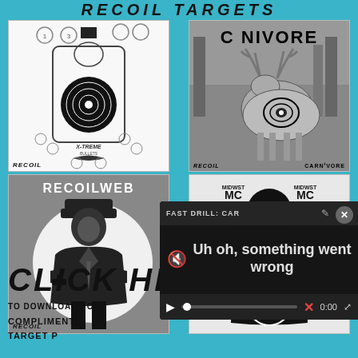RECOIL TARGETS
[Figure (photo): Four shooting targets arranged in a 2x2 grid on a cyan/teal background. Top-left: X-treme Bullets paper target with human silhouette and bullseye rings, labeled RECOIL. Top-right: CARNIVORE deer hunting target with deer image, labeled RECOIL CARNIVORE. Bottom-left: RECOILWEB paper target with noir-style detective/gangster illustration. Bottom-right: Midwest target with black human silhouette and oval scoring rings, with MIDWST MI logos.]
CLICK HERE
TO DOWNLOAD YOUR
COMPLIMENTARY
TARGET P
[Figure (screenshot): Video player overlay showing error state. Top bar reads 'FAST DRILL: CAR' with edit and menu icons and X close button. Error message area shows muted speaker icon, then text 'Uh oh, something went wrong'. Controls bar shows play button, progress bar with dot handle, X icon, 0:00 timestamp, and fullscreen icon.]